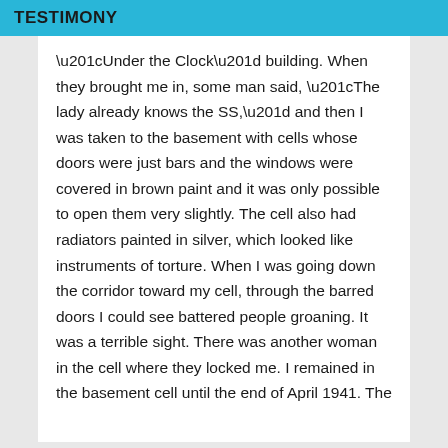TESTIMONY
“Under the Clock” building. When they brought me in, some man said, “The lady already knows the SS,” and then I was taken to the basement with cells whose doors were just bars and the windows were covered in brown paint and it was only possible to open them very slightly. The cell also had radiators painted in silver, which looked like instruments of torture. When I was going down the corridor toward my cell, through the barred doors I could see battered people groaning. It was a terrible sight. There was another woman in the cell where they locked me. I remained in the basement cell until the end of April 1941. The